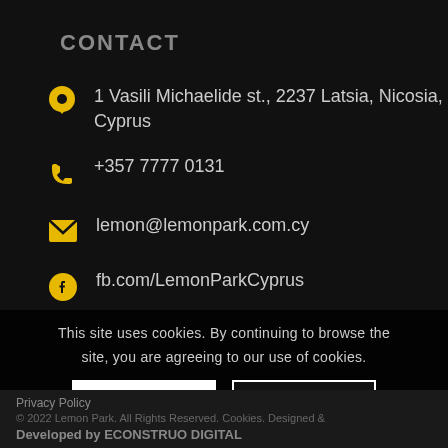CONTACT
1 Vasili Michaelide st., 2237 Latsia, Nicosia, Cyprus
+357 7777 0131
lemon@lemonpark.com.cy
fb.com/LemonParkCyprus
This site uses cookies. By continuing to browse the site, you are agreeing to our use of cookies.
Privacy Policy   © 2022 Lemon Park. All Rights Reserved. Cookies. Designed & Developed by ECONSTRUO DIGITAL